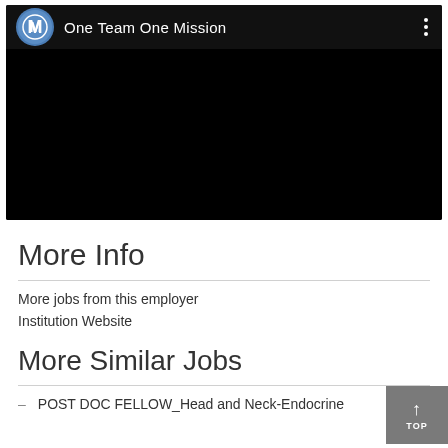[Figure (screenshot): Video player thumbnail showing 'One Team One Mission' with a circular logo icon on a black background, with a three-dot menu icon on the right.]
More Info
More jobs from this employer
Institution Website
More Similar Jobs
POST DOC FELLOW_Head and Neck-Endocrine